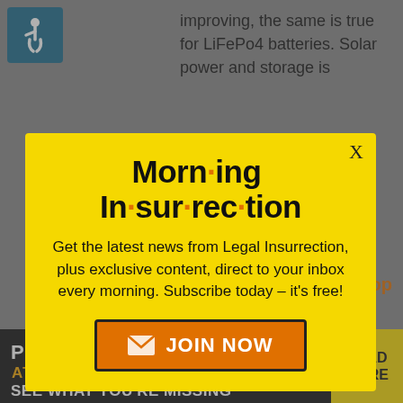[Figure (illustration): Wheelchair accessibility icon - white symbol on teal/blue background]
improving, the same is true for LiFePo4 batteries. Solar power and storage is
[Figure (infographic): Morning Insurrection newsletter signup modal with yellow background. Title reads 'Morn·ing In·sur·rec·tion' in bold black with orange dots. Body text: 'Get the latest news from Legal Insurrection, plus exclusive content, direct to your inbox every morning. Subscribe today – it's free!' with an orange JOIN NOW button featuring an envelope icon.]
a also several ne battery chemistries
[Figure (advertisement): The Perspective advertisement banner: 'PERSP·RCTIVE EVITA SEE WHAT YOU'RE MISSING' with READ MORE button on yellow background]